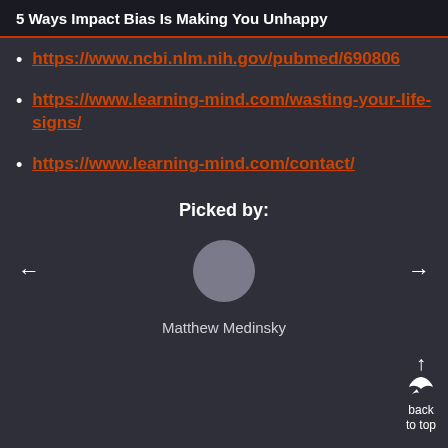5 Ways Impact Bias Is Making You Unhappy
https://www.ncbi.nlm.nih.gov/pubmed/690806
https://www.learning-mind.com/wasting-your-life-signs/
https://www.learning-mind.com/contact/
Picked by:
Matthew Medinsky
back to top